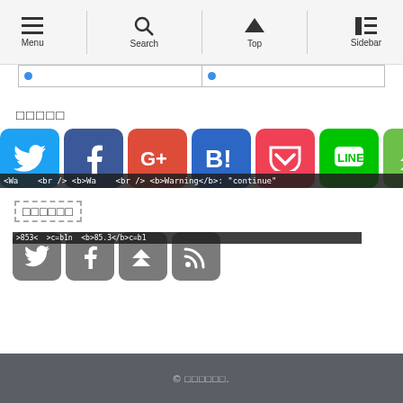Menu  Search  Top  Sidebar
[Figure (screenshot): Navigation bar with Menu, Search, Top, Sidebar icons and two input fields below]
シェアする (Share)
[Figure (screenshot): Social share buttons: Twitter, Facebook, Google+, Hatena, Pocket, LINE, Feedly with warning bar overlay showing PHP warning text]
フォローする (Follow)
[Figure (screenshot): Follow buttons: Twitter, Facebook, Feedly, RSS with warning bar overlay]
© ないぶろぐ.